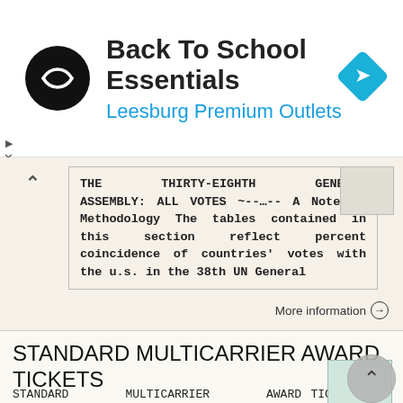[Figure (logo): Ad banner: Back To School Essentials at Leesburg Premium Outlets with circular logo and blue diamond navigation icon]
THE THIRTY-EIGHTH GENERAL ASSEMBLY: ALL VOTES ~--…-- A Note on Methodology The tables contained in this section reflect percent coincidence of countries' votes with the u.s. in the 38th UN General
More information →
STANDARD MULTICARRIER AWARD TICKETS
STANDARD MULTICARRIER AWARD TICKETS The Standard Multicarrier Award Ticket allows you to reach many destinations around the world, with the possibility to book mixed itineraries combining the Alitalia